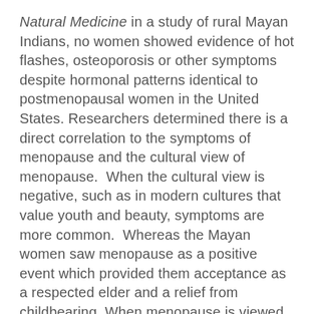Natural Medicine in a study of rural Mayan Indians, no women showed evidence of hot flashes, osteoporosis or other symptoms despite hormonal patterns identical to postmenopausal women in the United States. Researchers determined there is a direct correlation to the symptoms of menopause and the cultural view of menopause.  When the cultural view is negative, such as in modern cultures that value youth and beauty, symptoms are more common.  Whereas the Mayan women saw menopause as a positive event which provided them acceptance as a respected elder and a relief from childbearing. When menopause is viewed in a positive light, symptoms are less frequent and often non-existent.
It's also no surprise that regular physical exercise will decrease the intensity and frequency of hot flashes, possibly by increasing